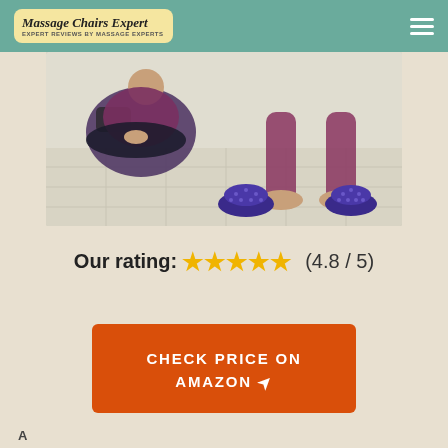Massage Chairs Expert
[Figure (photo): Two people using purple spiky half-dome foot massage balls on a light-colored floor. One person is seated cross-legged, the other is stretching with feet on the massage domes.]
Our rating: ★★★★★ (4.8 / 5)
CHECK PRICE ON AMAZON ↗